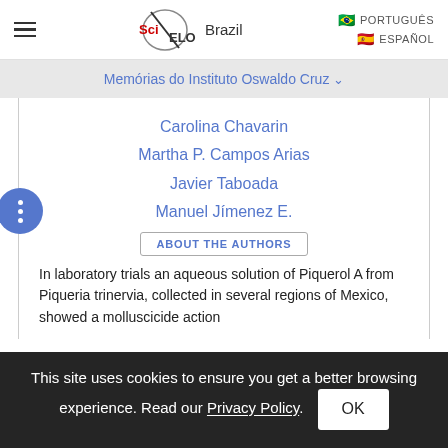SciELO Brazil | PORTUGUÊS | ESPAÑOL
Memórias do Instituto Oswaldo Cruz
Carolina Chavarin
Martha P. Campos Arias
Javier Taboada
Manuel Jímenez E.
ABOUT THE AUTHORS
In laboratory trials an aqueous solution of Piquerol A from Piqueria trinervia, collected in several regions of Mexico, showed a molluscicide action
This site uses cookies to ensure you get a better browsing experience. Read our Privacy Policy.